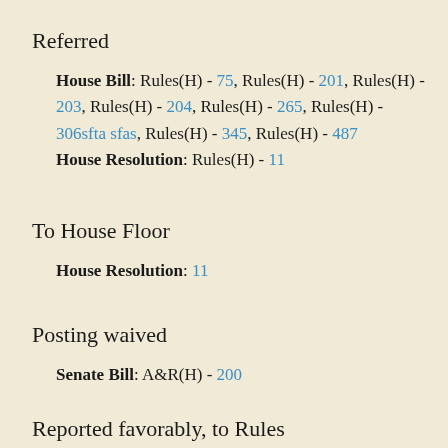Referred
House Bill: Rules(H) - 75, Rules(H) - 201, Rules(H) - 203, Rules(H) - 204, Rules(H) - 265, Rules(H) - 306sftasfas, Rules(H) - 345, Rules(H) - 487
House Resolution: Rules(H) - 11
To House Floor
House Resolution: 11
Posting waived
Senate Bill: A&R(H) - 200
Reported favorably, to Rules
Senate Bill: A&R(H) - 200(+more cut off)